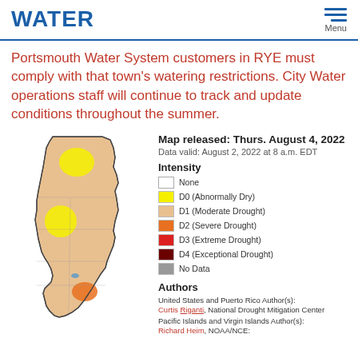WATER
Portsmouth Water System customers in RYE must comply with that town's watering restrictions. City Water operations staff will continue to track and update conditions throughout the summer.
[Figure (map): New Hampshire drought monitor map showing drought intensity by region, with yellow areas indicating D0 (Abnormally Dry), tan/peach areas indicating D1 (Moderate Drought), orange areas indicating D2 (Severe Drought), as of August 2, 2022.]
Map released: Thurs. August 4, 2022
Data valid: August 2, 2022 at 8 a.m. EDT
Intensity
None
D0 (Abnormally Dry)
D1 (Moderate Drought)
D2 (Severe Drought)
D3 (Extreme Drought)
D4 (Exceptional Drought)
No Data
Authors
United States and Puerto Rico Author(s):
Curtis Riganti, National Drought Mitigation Center
Pacific Islands and Virgin Islands Author(s):
Richard Heim, NOAA/NCE: